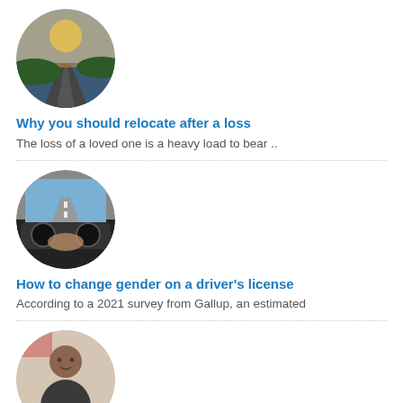[Figure (photo): Circular thumbnail photo of a road at sunset/dusk with winding highway]
Why you should relocate after a loss
The loss of a loved one is a heavy load to bear ..
[Figure (photo): Circular thumbnail photo showing a view from inside a car, dashboard and road visible]
How to change gender on a driver's license
According to a 2021 survey from Gallup, an estimated
[Figure (photo): Circular thumbnail photo of a person, appears to be a young individual indoors]
Center for Applied Drama & Autism new online offerings, one-act ..
The Center for Applied Drama and Autism (CADA) has
Filed Under: Issues, Nonprofits, Places, Videos